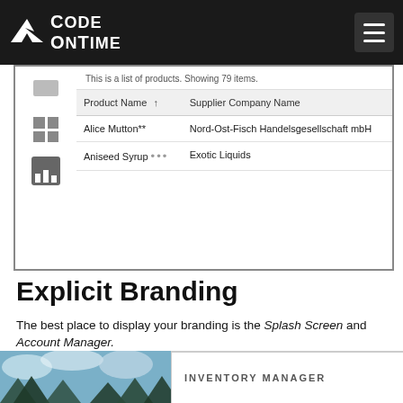[Figure (screenshot): Code On Time app navigation bar with logo and hamburger menu on dark background]
[Figure (screenshot): Mobile app product list table showing Product Name and Supplier Company Name columns with entries: Alice Mutton** / Nord-Ost-Fisch Handelsgesellschaft mbH, and Aniseed Syrup / Exotic Liquids]
Explicit Branding
The best place to display your branding is the Splash Screen and Account Manager.
The splash screen is displayed briefly when the user starts the app.
[Figure (screenshot): Bottom portion showing a forest/cloud photo on the left and INVENTORY MANAGER text on the right]